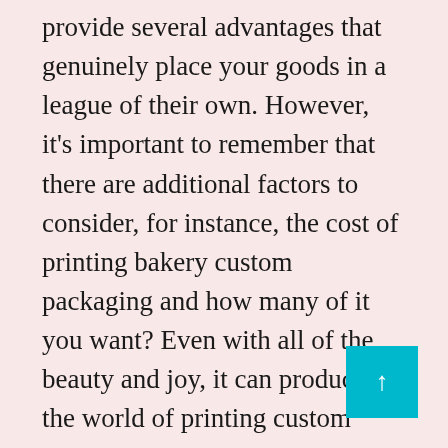provide several advantages that genuinely place your goods in a league of their own. However, it's important to remember that there are additional factors to consider, for instance, the cost of printing bakery custom packaging and how many of it you want? Even with all of the beauty and joy, it can produce, the world of printing custom boxes is still difficult. That is why customized packaging is here. We will assist you in creating your desired bakery custom packaging and boxes.